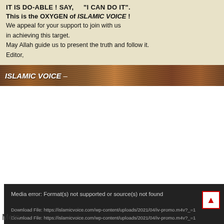[Figure (illustration): Banner image with cream/beige background containing text about Islamic Voice, topped with a wood-texture footer bar with italic ISLAMIC VOICE label.]
IT IS DO-ABLE ! SAY, "I CAN DO IT".
This is the OXYGEN of ISLAMIC VOICE !
We appeal for your support to join with us in achieving this target.
May Allah guide us to present the truth and follow it.
Editor,
ISLAMIC VOICE –
[Figure (screenshot): Dark media player error box. Shows: 'Media error: Format(s) not supported or source(s) not found'. Two download file links: https://islamicvoice.com/wp-content/uploads/2021/04/iv-promo.m4v?_=1]
Meta